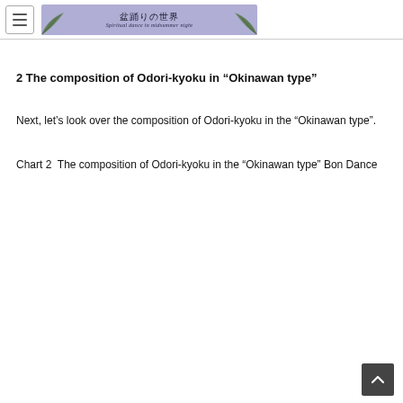盆踊りの世界 Spiritual dance in midsummer night
2 The composition of Odori-kyoku in “Okinawan type”
Next, let’s look over the composition of Odori-kyoku in the “Okinawan type”.
Chart 2  The composition of Odori-kyoku in the “Okinawan type” Bon Dance